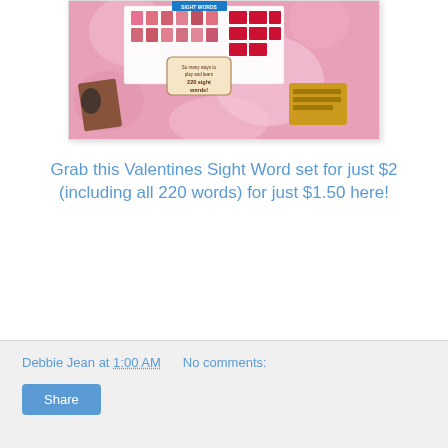[Figure (photo): Valentines Sight Word set product image showing colorful cards, character icons, and a promotional sign reading 'So many ways to play and learn 220 sight words!' on a pink floral background]
Grab this Valentines Sight Word set for just $2 (including all 220 words) for just $1.50 here!
Debbie Jean at 1:00 AM    No comments:   Share